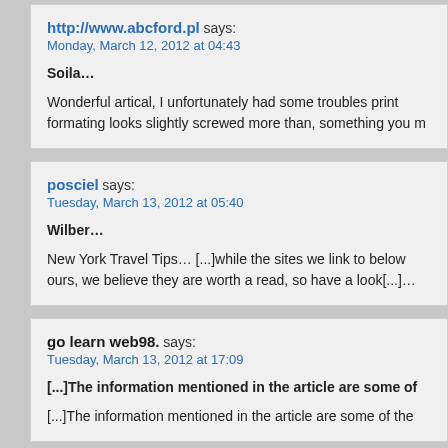http://www.abcford.pl says:
Monday, March 12, 2012 at 04:43

Soila…

Wonderful artical, I unfortunately had some troubles print formating looks slightly screwed more than, something you m
posciel says:
Tuesday, March 13, 2012 at 05:40

Wilber…

New York Travel Tips… [...]while the sites we link to below ours, we believe they are worth a read, so have a look[...]…
go learn web98. says:
Tuesday, March 13, 2012 at 17:09

[...]The information mentioned in the article are some of

[...]The information mentioned in the article are some of the
odżywki says:
Thursday, March 15, 2012 at 04:00